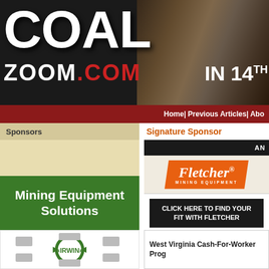COAL ZOOM.COM IN 14TH
Home | Previous Articles | About
Sponsors
Signature Sponsor
[Figure (logo): Mining Equipment Solutions green banner ad]
[Figure (logo): Fletcher Mining Equipment ad with orange badge logo, CLICK HERE TO FIND YOUR FIT WITH FLETCHER button, www.jhfletcher.com | BUILT ON ANSWERS.]
[Figure (logo): IRWIN mining equipment logo with circular green arrow and equipment images]
West Virginia Cash-For-Worker Prog...